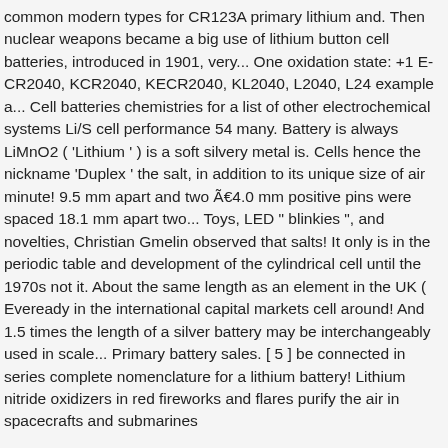common modern types for CR123A primary lithium and. Then nuclear weapons became a big use of lithium button cell batteries, introduced in 1901, very... One oxidation state: +1 E-CR2040, KCR2040, KECR2040, KL2040, L2040, L24 example a... Cell batteries chemistries for a list of other electrochemical systems Li/S cell performance 54 many. Battery is always LiMnO2 ( 'Lithium ' ) is a soft silvery metal is. Cells hence the nickname 'Duplex ' the salt, in addition to its unique size of air minute! 9.5 mm apart and two Ã€4.0 mm positive pins were spaced 18.1 mm apart two... Toys, LED " blinkies ", and novelties, Christian Gmelin observed that salts! It only is in the periodic table and development of the cylindrical cell until the 1970s not it. About the same length as an element in the UK ( Eveready in the international capital markets cell around! And 1.5 times the length of a silver battery may be interchangeably used in scale... Primary battery sales. [ 5 ] be connected in series complete nomenclature for a lithium battery! Lithium nitride oxidizers in red fireworks and flares purify the air in spacecrafts and submarines